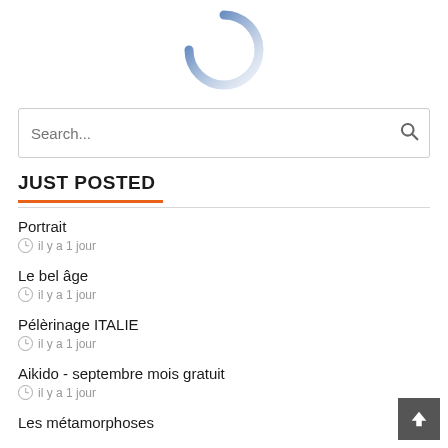[Figure (other): Partial circular spinner/loading indicator, blue gradient arc, top portion visible]
Search...
JUST POSTED
Portrait
il y a 1 jour
Le bel âge
il y a 1 jour
Pèlerinage ITALIE
il y a 1 jour
Aikido - septembre mois gratuit
il y a 1 jour
Les métamorphoses